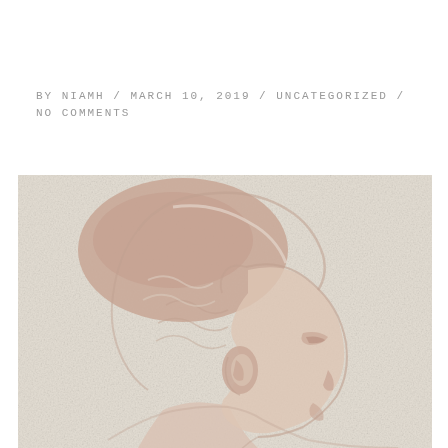BY NIAMH / MARCH 10, 2019 / UNCATEGORIZED / NO COMMENTS
[Figure (illustration): A minimalist, low-relief portrait painting/carving of a person's profile (side view, facing right), showing the head and upper shoulders. The artwork uses pale cream and muted rose/blush tones on a textured off-white background, rendered in a sculptural or bas-relief style. The figure has short, textured hair and delicate facial features. The outline style is fluid with carved-looking contour lines.]